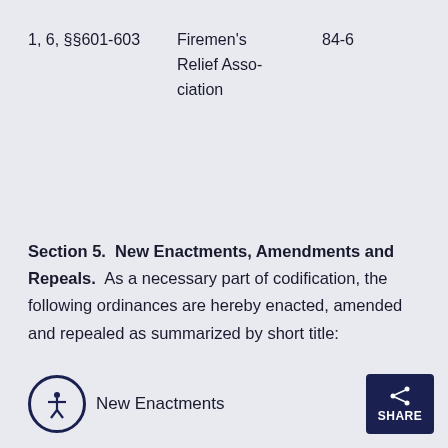| 1, 6, §§601-603 | Firemen's Relief Asso-ciation | 84-6 |
Section 5.  New Enactments, Amendments and Repeals.
As a necessary part of codification, the following ordinances are hereby enacted, amended and repealed as summarized by short title:
New Enactments